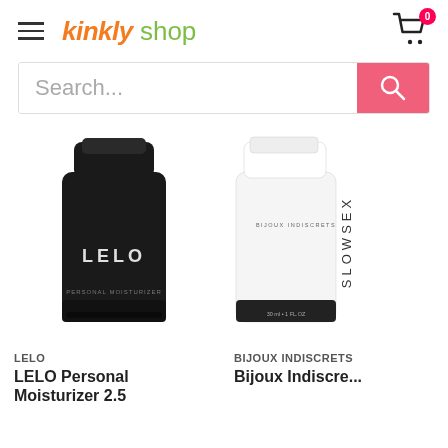kinkly shop
Search...
[Figure (photo): LELO Personal Moisturizer product tube in black packaging]
LELO
LELO Personal Moisturizer 2.5
[Figure (photo): Bijoux Indiscrets SLOW SEX product tube in white packaging, partially cropped]
BIJOUX INDISCRETS
Bijoux Indiscre...